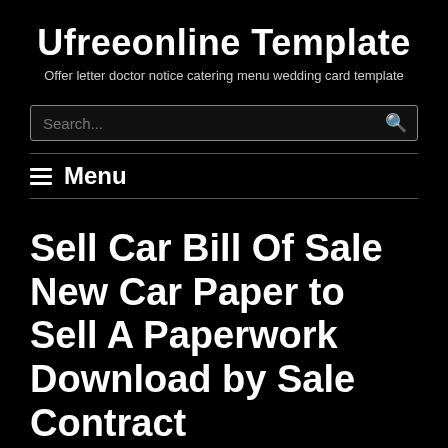Ufreeonline Template
Offer letter doctor notice catering menu wedding card template
Search...
≡ Menu
Sell Car Bill Of Sale New Car Paper to Sell A Paperwork Download by Sale Contract
Home → 50 Sell Car Bill Of Sale → Sell Car Bill Of Sale New Car Paper to Sell A Paperwork Download by Sale Contract